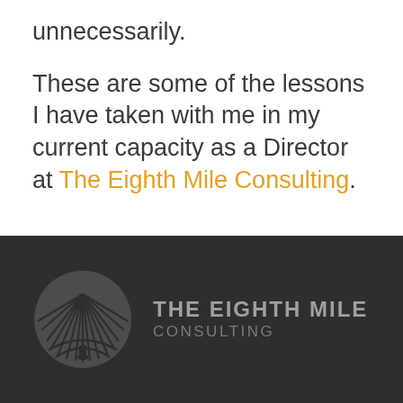unnecessarily.

These are some of the lessons I have taken with me in my current capacity as a Director at The Eighth Mile Consulting.
[Figure (logo): The Eighth Mile Consulting logo: a grey circular emblem with radiating lines and road/landscape motif, accompanied by the text 'THE EIGHTH MILE CONSULTING' in grey on a dark background.]